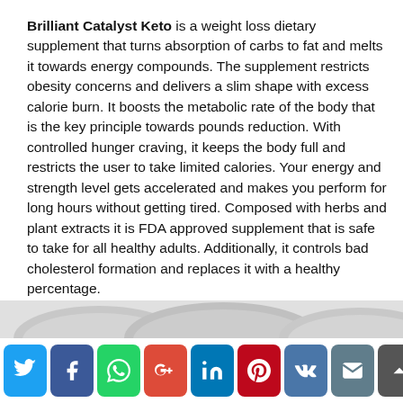Brilliant Catalyst Keto is a weight loss dietary supplement that turns absorption of carbs to fat and melts it towards energy compounds. The supplement restricts obesity concerns and delivers a slim shape with excess calorie burn. It boosts the metabolic rate of the body that is the key principle towards pounds reduction. With controlled hunger craving, it keeps the body full and restricts the user to take limited calories. Your energy and strength level gets accelerated and makes you perform for long hours without getting tired. Composed with herbs and plant extracts it is FDA approved supplement that is safe to take for all healthy adults. Additionally, it controls bad cholesterol formation and replaces it with a healthy percentage.
[Figure (other): Partial image strip visible at the bottom of the content area, showing rounded arch shapes in gray tones]
[Figure (infographic): Social media sharing bar with buttons: Twitter, Facebook, WhatsApp, Google+, LinkedIn, Pinterest, VK, Email, Scroll-to-top]